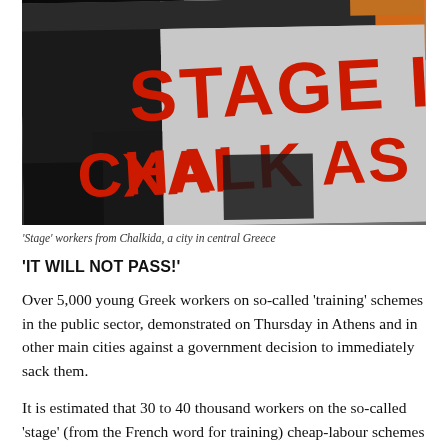[Figure (photo): Protesters holding a large banner with red text reading 'STAGE IKA CHALKIDAS'. The banner is white/grey with bold red painted lettering. Part of the banner is partially obscured. People's hands visible at top.]
'Stage' workers from Chalkida, a city in central Greece
'IT WILL NOT PASS!'
Over 5,000 young Greek workers on so-called 'training' schemes in the public sector, demonstrated on Thursday in Athens and in other main cities against a government decision to immediately sack them.
It is estimated that 30 to 40 thousand workers on the so-called 'stage' (from the French word for training) cheap-labour schemes are employed in the civil service, local